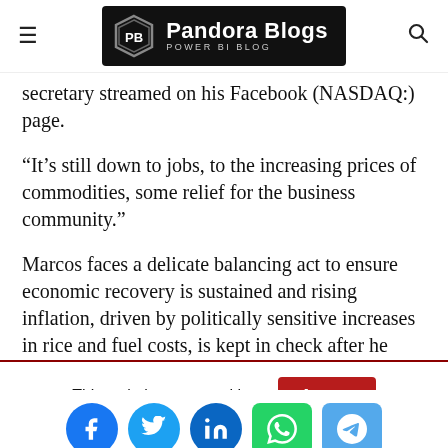Pandora Blogs — POWER BI BLOG
secretary streamed on his Facebook (NASDAQ:) page.
“It’s still down to jobs, to the increasing prices of commodities, some relief for the business community.”
Marcos faces a delicate balancing act to ensure economic recovery is sustained and rising inflation, driven by politically sensitive increases in rice and fuel costs, is kept in check after he starts his six-year term.
This website uses cookies.  Accept
[Figure (other): Social share buttons: Facebook, Twitter, LinkedIn, WhatsApp, Telegram]